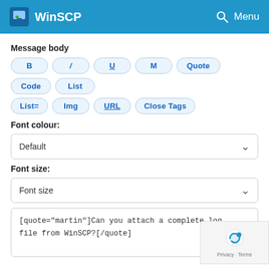WinSCP   Menu
Message body
B / U M Quote Code List List= Img URL Close Tags
Font colour:
Default
Font size:
Font size
[quote="martin"]Can you attach a complete log file from WinSCP?[/quote]